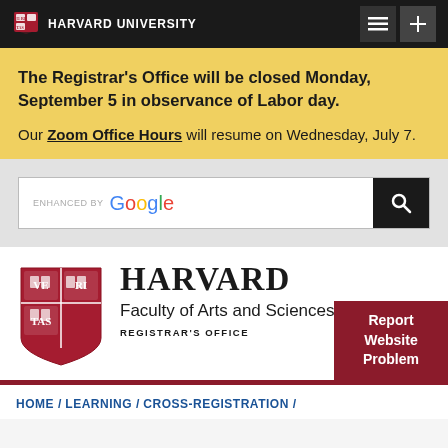HARVARD UNIVERSITY
The Registrar's Office will be closed Monday, September 5 in observance of Labor day.

Our Zoom Office Hours will resume on Wednesday, July 7.
[Figure (screenshot): Google-enhanced search bar with search button]
[Figure (logo): Harvard shield logo with VERITAS]
HARVARD Faculty of Arts and Sciences REGISTRAR'S OFFICE
Report Website Problem
HOME / LEARNING / CROSS-REGISTRATION /